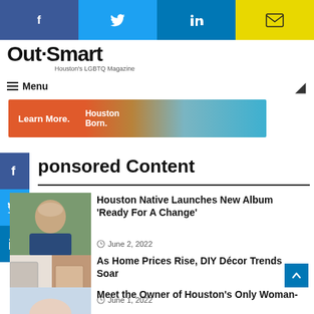[Figure (screenshot): Top navigation social share bar with Facebook, Twitter, LinkedIn, and Email buttons]
Out Smart - Houston's LGBTQ Magazine
[Figure (screenshot): Navigation menu bar with hamburger menu icon and moon/dark mode icon]
[Figure (infographic): Advertisement banner with 'Learn More.' and 'Houston Born.' text on colorful gradient background]
[Figure (screenshot): Left side floating social share bar with Facebook, Twitter, LinkedIn icons]
ponsored Content
[Figure (photo): Portrait photo of a middle-aged woman with short hair outdoors]
Houston Native Launches New Album 'Ready For A Change'
June 2, 2022
[Figure (photo): Home interior before/after photo showing wall vent]
As Home Prices Rise, DIY Décor Trends Soar
June 1, 2022
[Figure (photo): Partial photo of a person]
Meet the Owner of Houston's Only Woman-